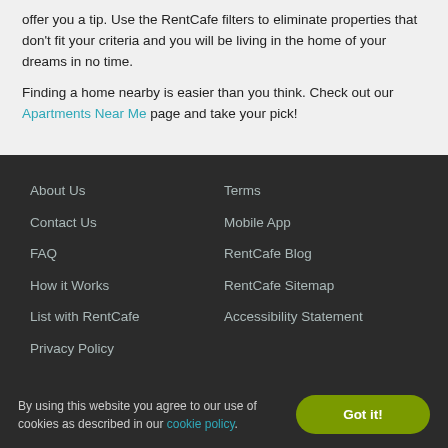offer you a tip. Use the RentCafe filters to eliminate properties that don't fit your criteria and you will be living in the home of your dreams in no time.
Finding a home nearby is easier than you think. Check out our Apartments Near Me page and take your pick!
About Us
Contact Us
FAQ
How it Works
List with RentCafe
Privacy Policy
Terms
Mobile App
RentCafe Blog
RentCafe Sitemap
Accessibility Statement
By using this website you agree to our use of cookies as described in our cookie policy.